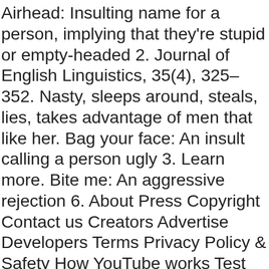Airhead: Insulting name for a person, implying that they're stupid or empty-headed 2. Journal of English Linguistics, 35(4), 325–352. Nasty, sleeps around, steals, lies, takes advantage of men that like her. Bag your face: An insult calling a person ugly 3. Learn more. Bite me: An aggressive rejection 6. About Press Copyright Contact us Creators Advertise Developers Terms Privacy Policy & Safety How YouTube works Test new features The sound of Valleyspeak has these main habits: nasal sound; fast-paced run-on sentences;[citation needed] breathiness; uptalk, or the sound of a question; and vocal fry. This song popularized phrases such as "grody to the max" and "gag me with a spoon". To establish and maintain the price of by governmental action [5] Zappa intended to lampoon the image, but after the song's release there was a significant increase in the "Valspeak" slang usage, whether ironically spoken or not. Geology.com is one of the world's leading portals to geology and Earth science news and information for